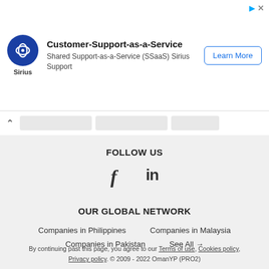[Figure (other): Advertisement banner for Sirius Customer-Support-as-a-Service with logo, text, and Learn More button]
FOLLOW US
[Figure (other): Social media icons: Facebook (f) and LinkedIn (in)]
OUR GLOBAL NETWORK
Companies in Philippines
Companies in Malaysia
Companies in Pakistan
See All →
By continuing past this page, you agree to our Terms of use, Cookies policy, Privacy policy. © 2009 - 2022 OmanYP (PRO2)